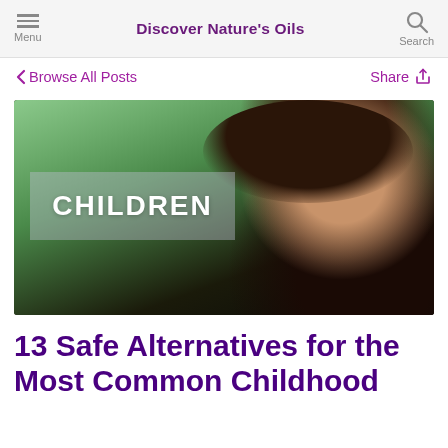Discover Nature's Oils
< Browse All Posts    Share
[Figure (photo): Smiling young girl with curly hair posing outdoors, with a semi-transparent overlay box showing the category label 'CHILDREN']
13 Safe Alternatives for the Most Common Childhood